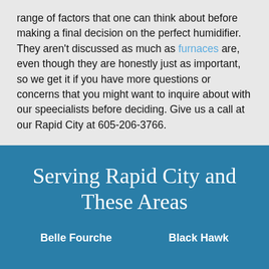range of factors that one can think about before making a final decision on the perfect humidifier. They aren't discussed as much as furnaces are, even though they are honestly just as important, so we get it if you have more questions or concerns that you might want to inquire about with our speecialists before deciding. Give us a call at our Rapid City at 605-206-3766.
Serving Rapid City and These Areas
Belle Fourche
Black Hawk